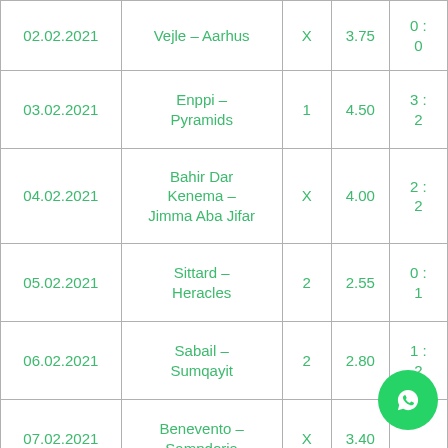| Date | Match | Pick | Odds | Score |
| --- | --- | --- | --- | --- |
| 02.02.2021 | Vejle – Aarhus | X | 3.75 | 0 : 0 |
| 03.02.2021 | Enppi – Pyramids | 1 | 4.50 | 3 : 2 |
| 04.02.2021 | Bahir Dar Kenema – Jimma Aba Jifar | X | 4.00 | 2 : 2 |
| 05.02.2021 | Sittard – Heracles | 2 | 2.55 | 0 : 1 |
| 06.02.2021 | Sabail – Sumqayit | 2 | 2.80 | 1 : 2 |
| 07.02.2021 | Benevento – Sampdoria | X | 3.40 |  |